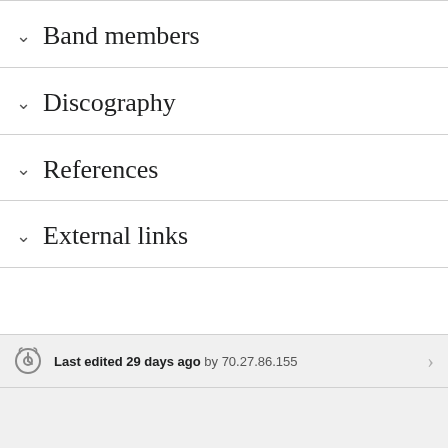Band members
Discography
References
External links
Last edited 29 days ago by 70.27.86.155